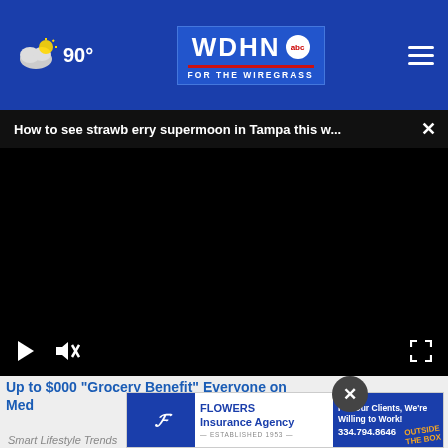90° WDHN ABC FOR THE WIREGRASS
How to see strawberry supermoon in Tampa this w...
[Figure (screenshot): Black video player area with play button, mute button, and fullscreen button controls]
Up to $000 "Grocery Benefit" Everyone on Med...
[Figure (illustration): Flowers Insurance Agency advertisement banner: logo, 'For Our Clients, We're Willing to Work! OUTSIDE THE BOX', phone 334.794.8646, Established 1953]
Smart Lifestyle Trends